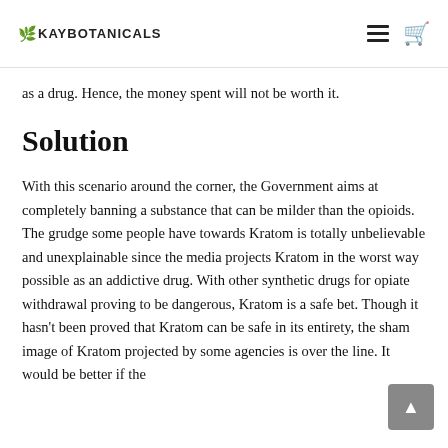KAYBOTANICALS
as a drug. Hence, the money spent will not be worth it.
Solution
With this scenario around the corner, the Government aims at completely banning a substance that can be milder than the opioids. The grudge some people have towards Kratom is totally unbelievable and unexplainable since the media projects Kratom in the worst way possible as an addictive drug. With other synthetic drugs for opiate withdrawal proving to be dangerous, Kratom is a safe bet. Though it hasn't been proved that Kratom can be safe in its entirety, the sham image of Kratom projected by some agencies is over the line. It would be better if the